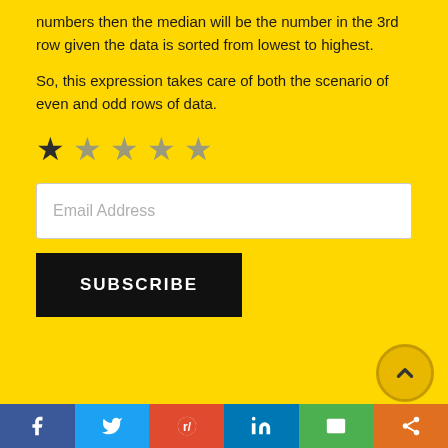numbers then the median will be the number in the 3rd row given the data is sorted from lowest to highest.
So, this expression takes care of both the scenario of even and odd rows of data.
[Figure (other): Star rating widget showing 1 out of 5 stars filled (dark), remaining 4 stars in muted grey/olive color]
[Figure (other): Email address input field with placeholder text 'Email Address' on yellow background]
[Figure (other): Black SUBSCRIBE button with white uppercase text]
[Figure (other): Social sharing bar at bottom with Facebook (blue), Twitter (light blue), Reddit (red-orange), LinkedIn (blue), Email (green), Share (orange) buttons, and a circular scroll-to-top arrow button]